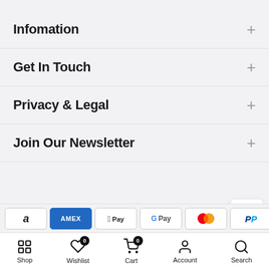Infomation
Get In Touch
Privacy & Legal
Join Our Newsletter
[Figure (infographic): Payment method icons: Amazon, Amex, Apple Pay, Google Pay, Mastercard, PayPal, ShopPay]
Shop | Wishlist (0) | Cart (0) | Account | Search